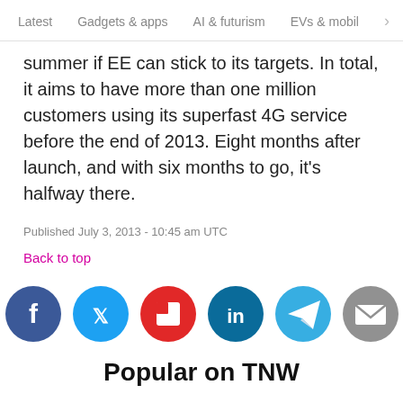Latest   Gadgets & apps   AI & futurism   EVs & mobil  >
summer if EE can stick to its targets. In total, it aims to have more than one million customers using its superfast 4G service before the end of 2013. Eight months after launch, and with six months to go, it's halfway there.
Published July 3, 2013 - 10:45 am UTC
Back to top
[Figure (infographic): Social sharing icons: Facebook (blue), Twitter (blue), Flipboard (red), LinkedIn (dark blue), Telegram (light blue), Email (grey)]
Popular on TNW